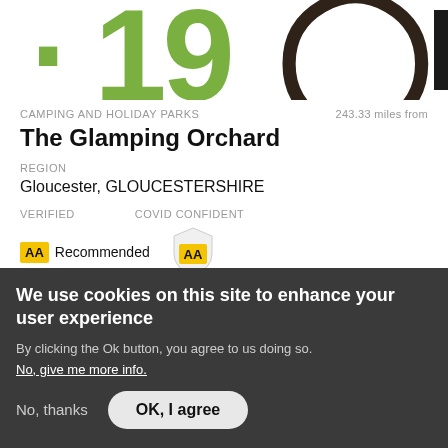[Figure (screenshot): Partial view of large decorative numbers '19' in green and a partial dark circle, with a black rectangle on the right edge]
CAMPING AND HOLIDAY PARKS    243.33 miles from
The Glamping Orchard
REGION
Gloucester, GLOUCESTERSHIRE
VERIFIED    COVID CONFIDENT
AA Recommended  [AA badge]  [Covid confident shield badge]
We use cookies on this site to enhance your user experience
By clicking the Ok button, you agree to us doing so.
No, give me more info.
No, thanks    OK, I agree